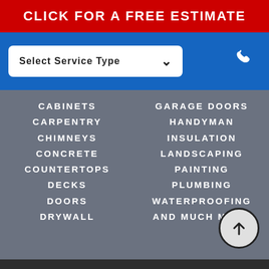CLICK FOR A FREE ESTIMATE
[Figure (screenshot): Select Service Type dropdown input with chevron icon and phone icon on blue background]
CABINETS
CARPENTRY
CHIMNEYS
CONCRETE
COUNTERTOPS
DECKS
DOORS
DRYWALL
GARAGE DOORS
HANDYMAN
INSULATION
LANDSCAPING
PAINTING
PLUMBING
WATERPROOFING
AND MUCH MORE
©2022 NORTH CAROLINA'S HANDYMAN ALL RIGHTS RESERVED PRIVACY POLICY | TERMS & CONDITIONS | SITE